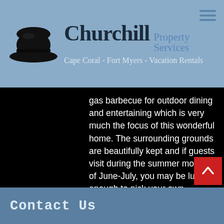Churchill Property Services - Cape Coral - Fort Myers - Vacation Rentals
gas barbecue for outdoor dining and entertaining which is very much the focus of this wonderful home. The surrounding grounds are beautifully kept and if guests visit during the summer months of June-July, you may be lucky enough to pick your own mangos from the home's private tree by the pool area!Villa Cabo Mango is the perfect choice for guests seeking a spacious modern residence, combined with one of Cape Coral's premier boating access locations.
Contact Us